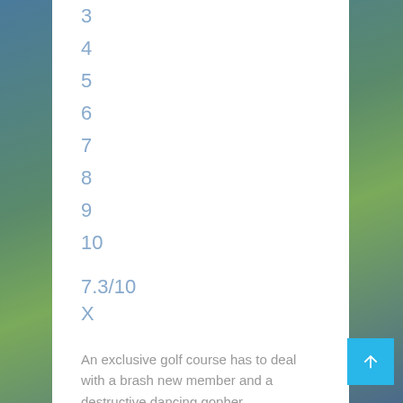3
4
5
6
7
8
9
10
7.3/10
X
An exclusive golf course has to deal with a brash new member and a destructive dancing gopher.
Director: